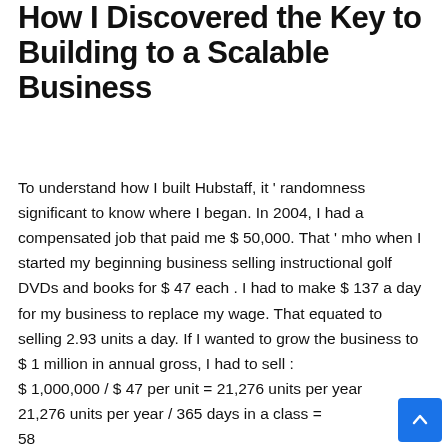How I Discovered the Key to Building to a Scalable Business
To understand how I built Hubstaff, it ' randomness significant to know where I began. In 2004, I had a compensated job that paid me $ 50,000. That ' mho when I started my beginning business selling instructional golf DVDs and books for $ 47 each . I had to make $ 137 a day for my business to replace my wage. That equated to selling 2.93 units a day. If I wanted to grow the business to $ 1 million in annual gross, I had to sell : $ 1,000,000 / $ 47 per unit = 21,276 units per year 21,276 units per year / 365 days in a class = 58 units per day